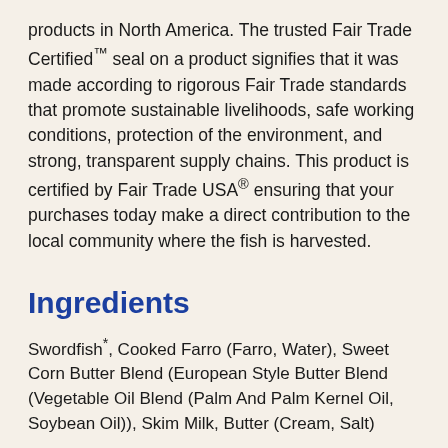products in North America. The trusted Fair Trade Certified™ seal on a product signifies that it was made according to rigorous Fair Trade standards that promote sustainable livelihoods, safe working conditions, protection of the environment, and strong, transparent supply chains. This product is certified by Fair Trade USA® ensuring that your purchases today make a direct contribution to the local community where the fish is harvested.
Ingredients
Swordfish*, Cooked Farro (Farro, Water), Sweet Corn Butter Blend (European Style Butter Blend (Vegetable Oil Blend (Palm And Palm Kernel Oil, Soybean Oil)), Skim Milk, Butter (Cream, Salt)